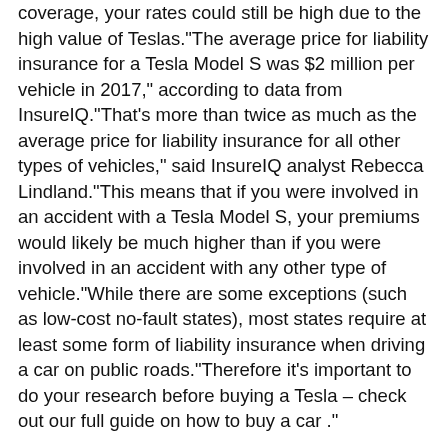coverage, your rates could still be high due to the high value of Teslas."The average price for liability insurance for a Tesla Model S was $2 million per vehicle in 2017," according to data from InsureIQ."That's more than twice as much as the average price for liability insurance for all other types of vehicles," said InsureIQ analyst Rebecca Lindland."This means that if you were involved in an accident with a Tesla Model S, your premiums would likely be much higher than if you were involved in an accident with any other type of vehicle."While there are some exceptions (such as low-cost no-fault states), most states require at least some form of liability insurance when driving a car on public roads."Therefore it's important to do your research before buying a Tesla – check out our full guide on how to buy a car ."
Why is tesla insurance so expensive?
Tesla cars are expensive to insure because they're